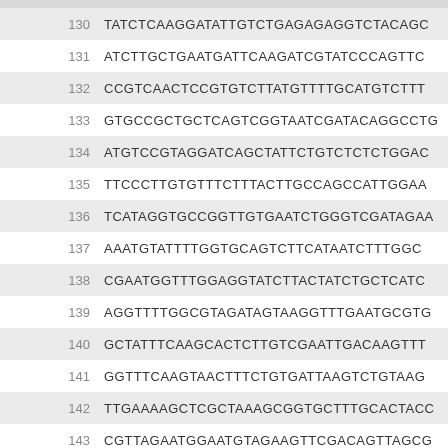| Index | Sequence |
| --- | --- |
| 130 | TATCTCAAGGATATTGTCTGAGAGAGGTCTACAGC |
| 131 | ATCTTGCTGAATGATTCAAGATCGTATCCCAGTTC |
| 132 | CCGTCAACTCCGTGTCTTATGTTTTGCATGTCTTT |
| 133 | GTGCCGCTGCTCAGTCGGTAATCGATACAGGCCTG |
| 134 | ATGTCCGTAGGATCAGCTATTCTGTCTCTCTGGAC |
| 135 | TTCCCTTGTGTTTCTTTACTTGCCAGCCATTGGAA |
| 136 | TCATAGGTGCCGGTTGTGAATCTGGGTCGATAGAA |
| 137 | AAATGTATTTTGGTGCAGTCTTCATAATCTTTGGC |
| 138 | CGAATGGTTTGGAGGTATCTTACTATCTGCTCATC |
| 139 | AGGTTTTGGCGTAGATAGTAAGGTTTGAATGCGTG |
| 140 | GCTATTTCAAGCACTCTTGTCGAATTGACAAGTTT |
| 141 | GGTTTCAAGTAACTTTCTGTGATTAAGTCTGTAAG |
| 142 | TTGAAAAGCTCGCTAAAGCGGTGCTTTGCACTACC |
| 143 | CGTTAGAATGGAATGTAGAAGTTCGACAGTTAGCG |
| 144 | GATGGGAGGAAGGATGCCGGTGATGCGCCTTACGA |